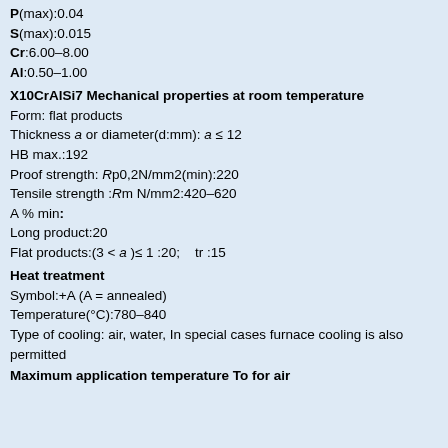P(max):0.04
S(max):0.015
Cr:6.00–8.00
Al:0.50–1.00
X10CrAlSi7 Mechanical properties at room temperature
Form: flat products
Thickness a or diameter(d:mm): a ≤ 12
HB max.:192
Proof strength: Rp0,2N/mm2(min):220
Tensile strength :Rm N/mm2:420–620
A % min:
Long product:20
Flat products:(3 < a )≤ 1 :20;   tr :15
Heat treatment
Symbol:+A (A = annealed)
Temperature(°C):780–840
Type of cooling: air, water, In special cases furnace cooling is also permitted
Maximum application temperature To for air